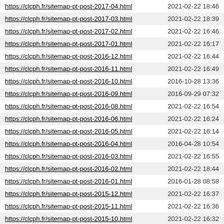| URL | Date |
| --- | --- |
| https://clcph.fr/sitemap-pt-post-2017-04.html | 2021-02-22 18:46 |
| https://clcph.fr/sitemap-pt-post-2017-03.html | 2021-02-22 18:39 |
| https://clcph.fr/sitemap-pt-post-2017-02.html | 2021-02-22 16:46 |
| https://clcph.fr/sitemap-pt-post-2017-01.html | 2021-02-22 16:17 |
| https://clcph.fr/sitemap-pt-post-2016-12.html | 2021-02-22 16:44 |
| https://clcph.fr/sitemap-pt-post-2016-11.html | 2021-02-22 16:49 |
| https://clcph.fr/sitemap-pt-post-2016-10.html | 2016-10-28 13:36 |
| https://clcph.fr/sitemap-pt-post-2016-09.html | 2016-09-29 07:32 |
| https://clcph.fr/sitemap-pt-post-2016-08.html | 2021-02-22 16:54 |
| https://clcph.fr/sitemap-pt-post-2016-06.html | 2021-02-22 16:24 |
| https://clcph.fr/sitemap-pt-post-2016-05.html | 2021-02-22 16:14 |
| https://clcph.fr/sitemap-pt-post-2016-04.html | 2016-04-28 10:54 |
| https://clcph.fr/sitemap-pt-post-2016-03.html | 2021-02-22 16:55 |
| https://clcph.fr/sitemap-pt-post-2016-02.html | 2021-02-22 18:44 |
| https://clcph.fr/sitemap-pt-post-2016-01.html | 2016-01-28 08:58 |
| https://clcph.fr/sitemap-pt-post-2015-12.html | 2021-02-22 16:37 |
| https://clcph.fr/sitemap-pt-post-2015-11.html | 2021-02-22 16:36 |
| https://clcph.fr/sitemap-pt-post-2015-10.html | 2021-02-22 16:32 |
| https://clcph.fr/sitemap-pt-post-2015-09.html | 2021-02-22 16:31 |